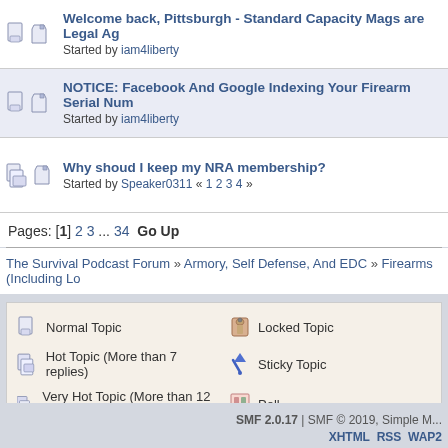Welcome back, Pittsburgh - Standard Capacity Mags are Legal Ag... Started by iam4liberty
NOTICE: Facebook And Google Indexing Your Firearm Serial Num... Started by iam4liberty
Why shoud I keep my NRA membership? Started by Speaker0311 « 1 2 3 4 »
Pages: [1] 2 3 ... 34   Go Up
The Survival Podcast Forum » Armory, Self Defense, And EDC » Firearms (Including Lo...
Normal Topic | Locked Topic | Hot Topic (More than 7 replies) | Sticky Topic | Very Hot Topic (More than 12 replies) | Poll
SMF 2.0.17 | SMF © 2019, Simple M... XHTML RSS WAP2